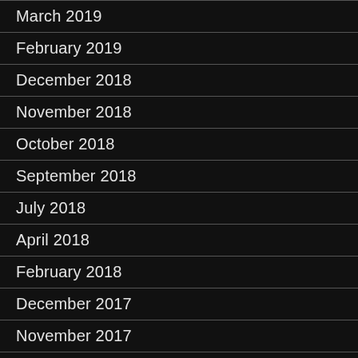March 2019
February 2019
December 2018
November 2018
October 2018
September 2018
July 2018
April 2018
February 2018
December 2017
November 2017
June 2017